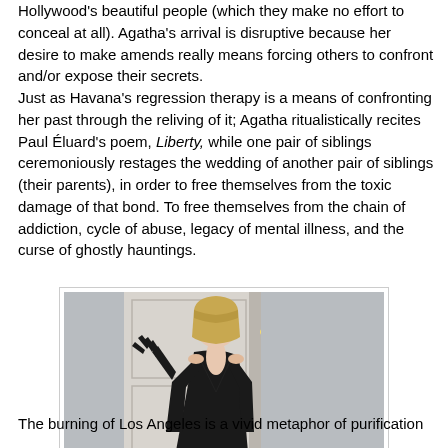Hollywood's beautiful people (which they make no effort to conceal at all). Agatha's arrival is disruptive because her desire to make amends really means forcing others to confront and/or expose their secrets.
Just as Havana's regression therapy is a means of confronting her past through the reliving of it; Agatha ritualistically recites Paul Éluard's poem, Liberty, while one pair of siblings ceremoniously restages the wedding of another pair of siblings (their parents), in order to free themselves from the toxic damage of that bond. To free themselves from the chain of addiction, cycle of abuse, legacy of mental illness, and the curse of ghostly hauntings.
[Figure (photo): A woman with short blonde hair wearing a black sleeveless dress and a black glove, holding her gloved hand up, standing in front of a doorway.]
Dressed for A Date With Destiny
The burning of Los Angeles is a vivid metaphor of purification